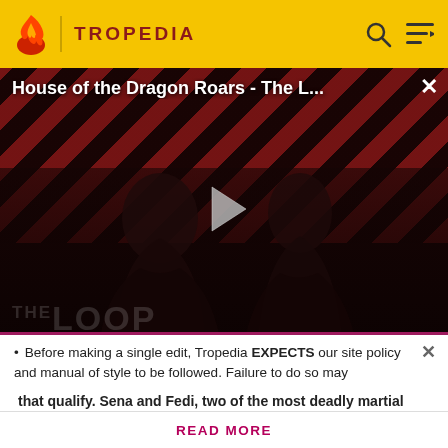TROPEDIA
[Figure (screenshot): Video thumbnail for 'House of the Dragon Roars - The L...' showing The Loop branding with two figures in shadow against diagonal red/dark stripe background, with a play button in center and NaN:NaN timecode in bottom right.]
that qualify. Sena and Fedi, two of the most deadly martial artists in the series.
Before making a single edit, Tropedia EXPECTS our site policy and manual of style to be followed. Failure to do so may
READ MORE